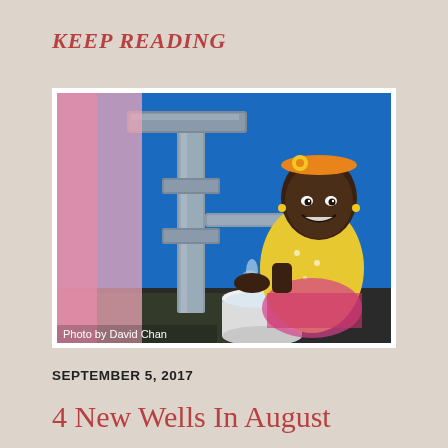KEEP READING
[Figure (photo): A young girl in a yellow dress and orange headband smiles while washing her hands at a water pump, filling a white bucket. Blue wall in background. Caption: Photo by David Chan.]
Photo by David Chan
SEPTEMBER 5, 2017
4 New Wells In August